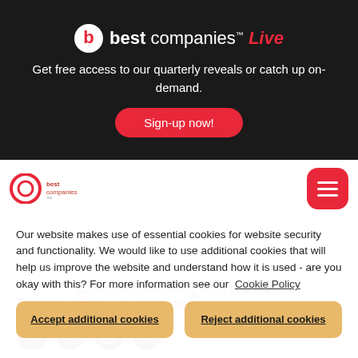[Figure (logo): Best Companies Live logo with red circle B icon and red 'Live' script text]
Get free access to our quarterly reveals or catch up on-demand.
Sign-up now!
[Figure (logo): Best Companies logo]
Our website makes use of essential cookies for website security and functionality. We would like to use additional cookies that will help us improve the website and understand how it is used - are you okay with this? For more information see our Cookie Policy
Accept additional cookies
Reject additional cookies
Latest Achievements
For a better workplace™
[Figure (illustration): Social media icons: Twitter, Facebook, Instagram, LinkedIn]